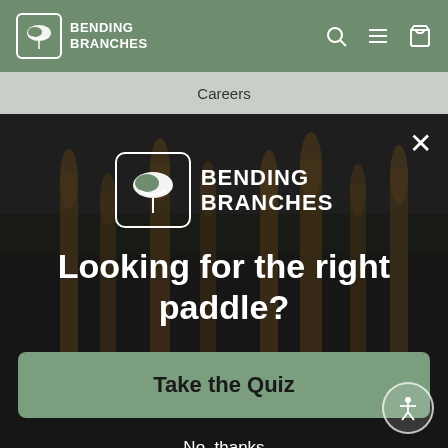[Figure (screenshot): Bending Branches website navigation bar with logo, search icon, hamburger menu, and cart icon on green background]
Careers
[Figure (photo): Dark background photo of wooden paddles standing upright near a rocky shoreline]
[Figure (logo): Bending Branches logo - white tree/cloud icon in rounded rectangle with BENDING BRANCHES text]
Looking for the right paddle?
Take the Quiz
No, thanks